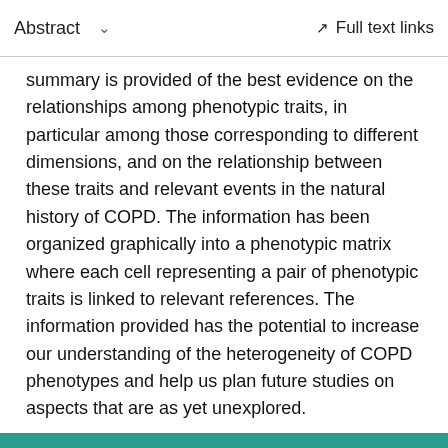Abstract    ∨    Full text links
summary is provided of the best evidence on the relationships among phenotypic traits, in particular among those corresponding to different dimensions, and on the relationship between these traits and relevant events in the natural history of COPD. The information has been organized graphically into a phenotypic matrix where each cell representing a pair of phenotypic traits is linked to relevant references. The information provided has the potential to increase our understanding of the heterogeneity of COPD phenotypes and help us plan future studies on aspects that are as yet unexplored.
Similar articles
Phenotypes of chronic obstructive pulmonary disease.